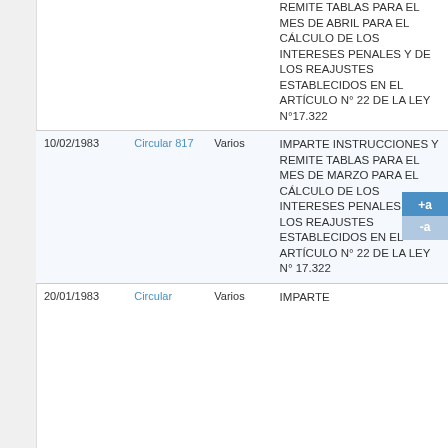| Fecha | Tipo | Sector | Materia |
| --- | --- | --- | --- |
|  |  |  | REMITE TABLAS PARA EL MES DE ABRIL PARA EL CÁLCULO DE LOS INTERESES PENALES Y DE LOS REAJUSTES ESTABLECIDOS EN EL ARTÍCULO N° 22 DE LA LEY N°17.322 |
| 10/02/1983 | Circular 817 | Varios | IMPARTE INSTRUCCIONES Y REMITE TABLAS PARA EL MES DE MARZO PARA EL CÁLCULO DE LOS INTERESES PENALES Y DE LOS REAJUSTES ESTABLECIDOS EN EL ARTÍCULO N° 22 DE LA LEY N° 17.322 |
| 20/01/1983 | Circular | Varios | IMPARTE |